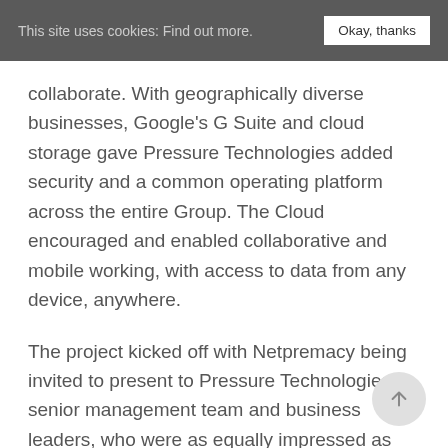This site uses cookies: Find out more.   Okay, thanks
collaborate. With geographically diverse businesses, Google's G Suite and cloud storage gave Pressure Technologies added security and a common operating platform across the entire Group. The Cloud encouraged and enabled collaborative and mobile working, with access to data from any device, anywhere.
The project kicked off with Netpremacy being invited to present to Pressure Technologies senior management team and business leaders, who were as equally impressed as John had been at the event in Leeds.